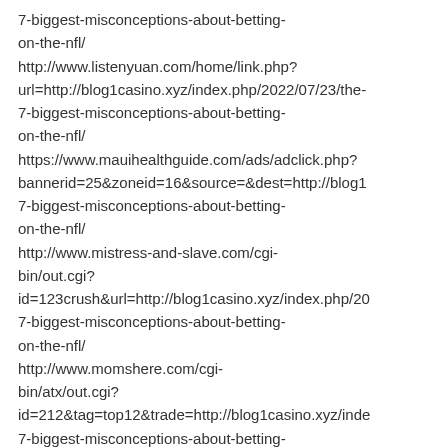7-biggest-misconceptions-about-betting-on-the-nfl/ http://www.listenyuan.com/home/link.php?url=http://blog1casino.xyz/index.php/2022/07/23/the-7-biggest-misconceptions-about-betting-on-the-nfl/ https://www.mauihealthguide.com/ads/adclick.php?bannerid=25&zoneid=16&source=&dest=http://blog1 7-biggest-misconceptions-about-betting-on-the-nfl/ http://www.mistress-and-slave.com/cgi-bin/out.cgi?id=123crush&url=http://blog1casino.xyz/index.php/2022/07/23/the-7-biggest-misconceptions-about-betting-on-the-nfl/ http://www.momshere.com/cgi-bin/atx/out.cgi?id=212&tag=top12&trade=http://blog1casino.xyz/inde 7-biggest-misconceptions-about-betting-